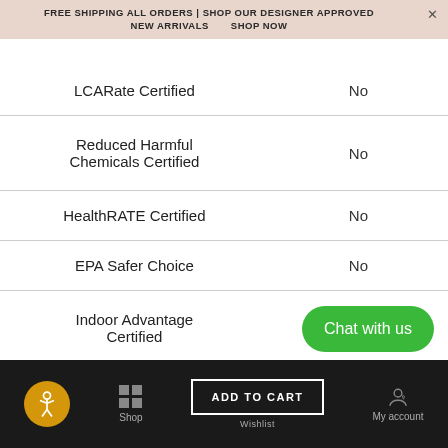FREE SHIPPING ALL ORDERS | SHOP OUR DESIGNER APPROVED NEW ARRIVALS   SHOP NOW
| Certifications |  |
| --- | --- |
|  | No |
| LCARate Certified | No |
| Reduced Harmful Chemicals Certified | No |
| HealthRATE Certified | No |
| EPA Safer Choice | No |
| Indoor Advantage Certified | No |
| Indoor Air Quality Certifications |  |
Chat with us
ADD TO CART   Wishlist   My account   Shop